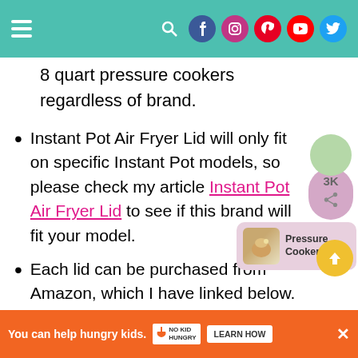Navigation bar with hamburger menu and social media icons
8 quart pressure cookers regardless of brand.
Instant Pot Air Fryer Lid will only fit on specific Instant Pot models, so please check my article Instant Pot Air Fryer Lid to see if this brand will fit your model.
Each lid can be purchased from Amazon, which I have linked below.
Mealthy CrispLid (buy from Amazon)
[Figure (other): Share widget showing a green circle, purple share count box with 3K, and share icon]
[Figure (other): Pressure Cooker related article thumbnail popup with image and text]
[Figure (other): Yellow scroll-to-top circular button with upward arrow]
You can help hungry kids. NO KID HUNGRY LEARN HOW